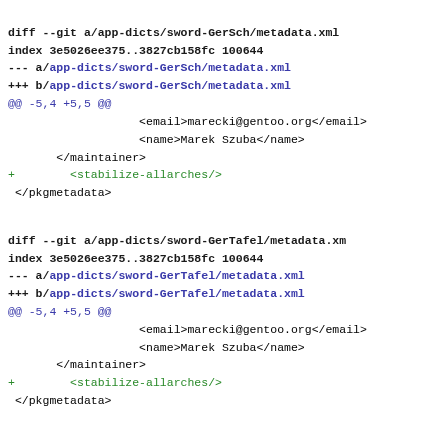diff --git a/app-dicts/sword-GerSch/metadata.xml
index 3e5026ee375..3827cb158fc 100644
--- a/app-dicts/sword-GerSch/metadata.xml
+++ b/app-dicts/sword-GerSch/metadata.xml
@@ -5,4 +5,5 @@
                    <email>marecki@gentoo.org</email>
                    <name>Marek Szuba</name>
        </maintainer>
+        <stabilize-allarches/>
 </pkgmetadata>
diff --git a/app-dicts/sword-GerTafel/metadata.xml
index 3e5026ee375..3827cb158fc 100644
--- a/app-dicts/sword-GerTafel/metadata.xml
+++ b/app-dicts/sword-GerTafel/metadata.xml
@@ -5,4 +5,5 @@
                    <email>marecki@gentoo.org</email>
                    <name>Marek Szuba</name>
        </maintainer>
+        <stabilize-allarches/>
 </pkgmetadata>